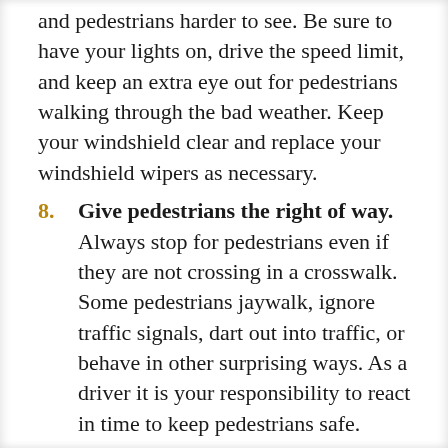and pedestrians harder to see. Be sure to have your lights on, drive the speed limit, and keep an extra eye out for pedestrians walking through the bad weather. Keep your windshield clear and replace your windshield wipers as necessary.
8. Give pedestrians the right of way. Always stop for pedestrians even if they are not crossing in a crosswalk. Some pedestrians jaywalk, ignore traffic signals, dart out into traffic, or behave in other surprising ways. As a driver it is your responsibility to react in time to keep pedestrians safe.
9. Practice safe crosswalk etiquette. Always reduce your speed as you approach a crosswalk and yield to a pedestrian if they are waiting to cross.